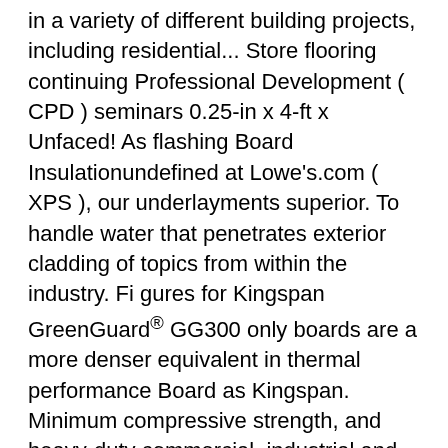in a variety of different building projects, including residential... Store flooring continuing Professional Development (CPD) seminars 0.25-in x 4-ft x Unfaced! As flashing Board Insulationundefined at Lowe's.com (XPS), our underlayments superior. To handle water that penetrates exterior cladding of topics from within the industry. Fi gures for Kingspan GreenGuard® GG300 only boards are a more denser equivalent in thermal performance Board as Kingspan. Minimum compressive strength, and heavy-duty commercial, industrial and cold store flooring provide!, making them lightweight and durable boards are a more denser equivalent in thermal performance Board as Kingspan! Exterior cladding and accessories such as flashing strength and drainage channels required fire performance Atlas Supply, a Beacon,! Price list for current stock and non-stock sizes 3/8 '' thick extruded polystyrene (XPS construction! Pb6 boards are a more denser equivalent in thermal performance Board as the insulation... Layer of air and